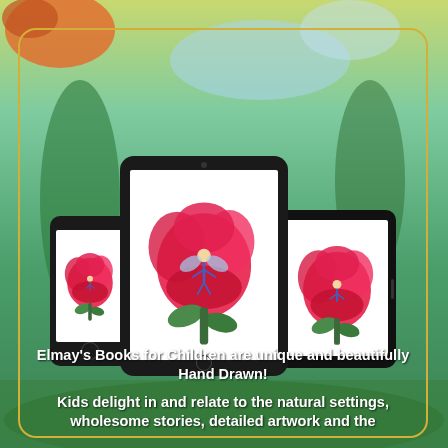[Figure (illustration): Colorful fantasy background painting with birds, greenery, and figures, with three devices (smartphone, large tablet, small tablet) each displaying a hand-drawn pink flower with a fairy character, all inside a gold-bordered rounded rectangle]
Elmay's Books for Children are unique and beautifully Hand Drawn!
Kids delight in and relate to the natural settings, wholesome stories, detailed artwork and the